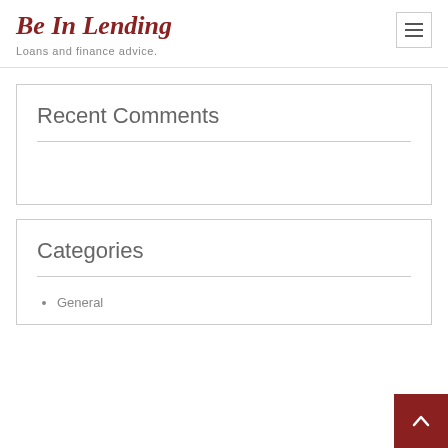Be In Lending
Loans and finance advice.
Recent Comments
Categories
General